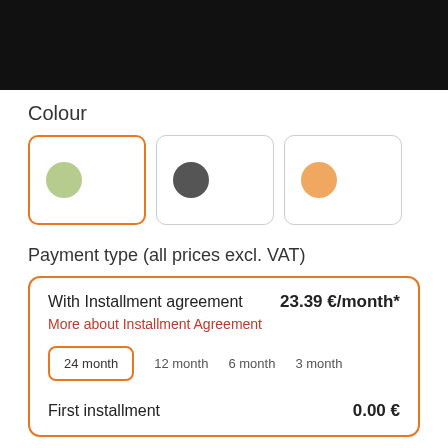Colour
[Figure (illustration): Three colour selector boxes: green (selected, orange border), dark grey, and orange/tan circles]
Payment type (all prices excl. VAT)
With Installment agreement   23.39 €/month*
More about Installment Agreement
24 month   12 month   6 month   3 month
First installment   0.00 €